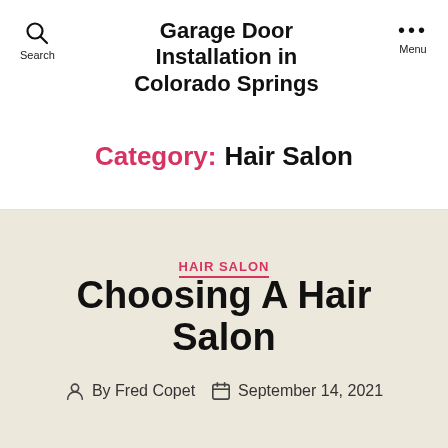Garage Door Installation in Colorado Springs
Category: Hair Salon
HAIR SALON
Choosing A Hair Salon
By Fred Copet  September 14, 2021